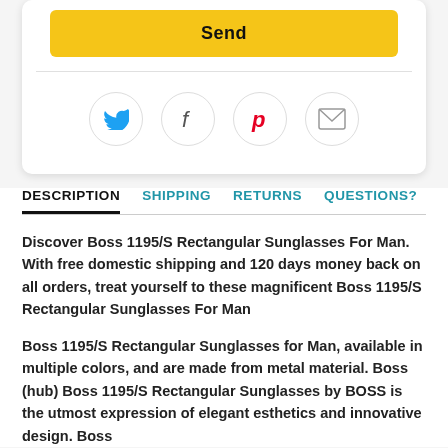[Figure (other): Yellow Send button inside a white card with rounded corners and drop shadow]
[Figure (other): Social sharing icons row: Twitter (blue bird), Facebook (f), Pinterest (red P), Email (envelope) — each in a light gray circle]
DESCRIPTION  SHIPPING  RETURNS  QUESTIONS?
Discover Boss 1195/S Rectangular Sunglasses For Man. With free domestic shipping and 120 days money back on all orders, treat yourself to these magnificent Boss 1195/S Rectangular Sunglasses For Man
Boss 1195/S Rectangular Sunglasses for Man, available in multiple colors, and are made from metal material. Boss (hub) Boss 1195/S Rectangular Sunglasses by BOSS is the utmost expression of elegant esthetics and innovative design. Boss